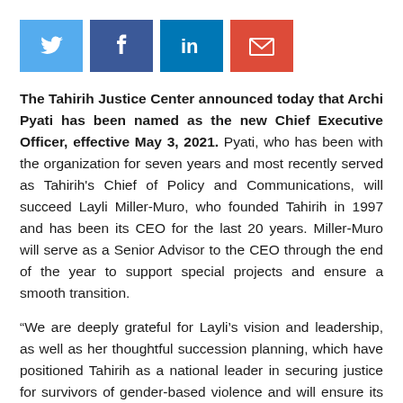[Figure (other): Social sharing buttons: Twitter (blue), Facebook (dark blue), LinkedIn (light blue), Email (red)]
The Tahirih Justice Center announced today that Archi Pyati has been named as the new Chief Executive Officer, effective May 3, 2021. Pyati, who has been with the organization for seven years and most recently served as Tahirih's Chief of Policy and Communications, will succeed Layli Miller-Muro, who founded Tahirih in 1997 and has been its CEO for the last 20 years. Miller-Muro will serve as a Senior Advisor to the CEO through the end of the year to support special projects and ensure a smooth transition.
“We are deeply grateful for Layli’s vision and leadership, as well as her thoughtful succession planning, which have positioned Tahirih as a national leader in securing justice for survivors of gender-based violence and will ensure its stability after her departure,” said Douglas Henck, Chair of the Board